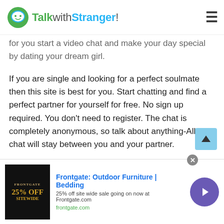TalkwithStranger!
for you start a video chat and make your day special by dating your dream girl.
If you are single and looking for a perfect soulmate then this site is best for you. Start chatting and find a perfect partner for yourself for free. No sign up required. You don't need to register. The chat is completely anonymous, so talk about anything-All your chat will stay between you and your partner.
Coomeet is taking the internet by storm with its exciting features. The video chat feature is worth using. Start a 1-1 video chat with your favorite girl and express your love
[Figure (screenshot): Frontgate outdoor furniture advertisement banner with 25% off sitewide sale]